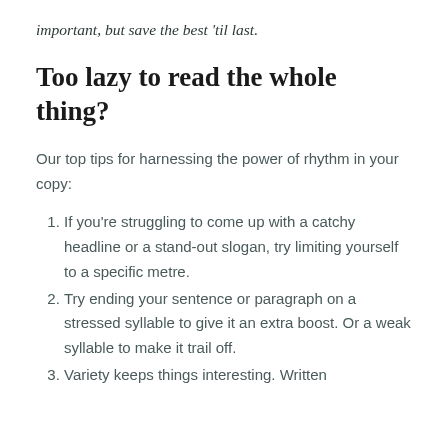important, but save the best 'til last.
Too lazy to read the whole thing?
Our top tips for harnessing the power of rhythm in your copy:
If you're struggling to come up with a catchy headline or a stand-out slogan, try limiting yourself to a specific metre.
Try ending your sentence or paragraph on a stressed syllable to give it an extra boost. Or a weak syllable to make it trail off.
Variety keeps things interesting. Written